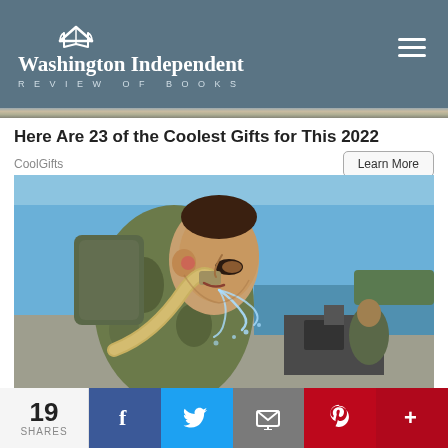Washington Independent REVIEW OF BOOKS
Here Are 23 of the Coolest Gifts for This 2022
CoolGifts
[Figure (photo): A soldier in camouflage uniform drinking from a hose, water splashing, with military equipment and water in the background on a sunny day]
19 SHARES